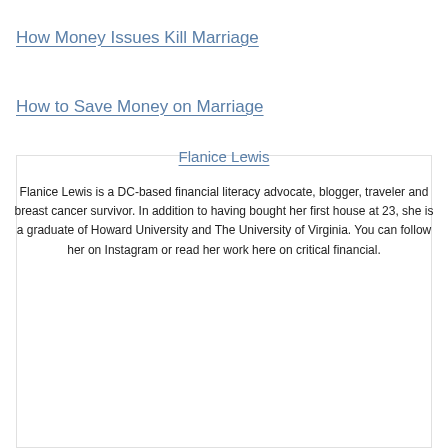How Money Issues Kill Marriage
How to Save Money on Marriage
Flanice Lewis
Flanice Lewis is a DC-based financial literacy advocate, blogger, traveler and breast cancer survivor. In addition to having bought her first house at 23, she is a graduate of Howard University and The University of Virginia. You can follow her on Instagram or read her work here on critical financial.